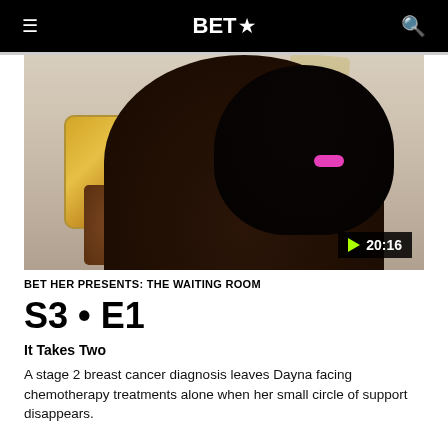BET★
[Figure (photo): A woman with long dark wavy hair, wearing a dark sleeveless top and bright pink lipstick, holding up a gold glitter-cased smartphone at arm's length as if taking a selfie. She is sitting in front of a light-colored wall with decorative elements. A video play button and duration badge reads ▶ 20:16.]
BET HER PRESENTS: THE WAITING ROOM
S3 • E1
It Takes Two
A stage 2 breast cancer diagnosis leaves Dayna facing chemotherapy treatments alone when her small circle of support disappears.